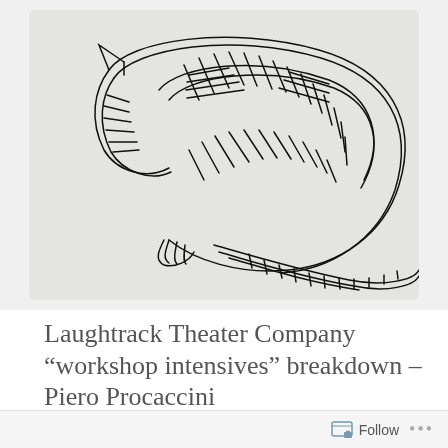[Figure (illustration): Ink sketch drawing of a curled-up cat or animal, rendered in loose expressive black pen lines on a light gray background. The figure is tightly curled with textured hatching strokes.]
Laughtrack Theater Company “workshop intensives” breakdown – Piero Procaccini
MARCH 29, 2010 ~ MONKIYO